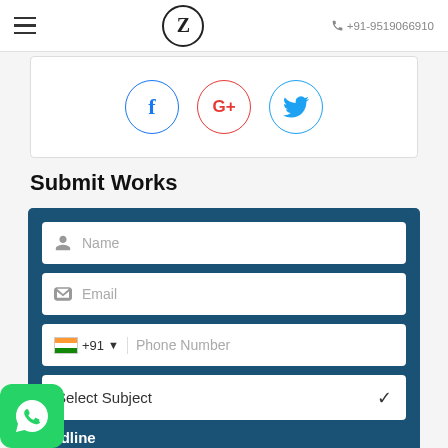≡  Z  +91-9519066910
[Figure (screenshot): Social media share buttons: Facebook (blue f), Google+ (red G+), Twitter (blue bird) — circular outlined icons]
Submit Works
[Figure (screenshot): Web form with fields: Name, Email, +91 Phone Number, Select Subject dropdown, Deadline (YYYY-MM-DD)]
[Figure (logo): WhatsApp floating button in green]